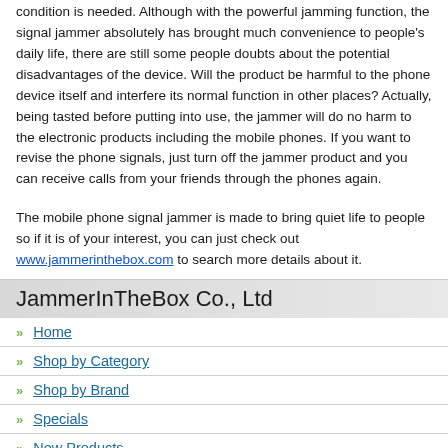condition is needed. Although with the powerful jamming function, the signal jammer absolutely has brought much convenience to people's daily life, there are still some people doubts about the potential disadvantages of the device. Will the product be harmful to the phone device itself and interfere its normal function in other places? Actually, being tasted before putting into use, the jammer will do no harm to the electronic products including the mobile phones. If you want to revise the phone signals, just turn off the jammer product and you can receive calls from your friends through the phones again.
The mobile phone signal jammer is made to bring quiet life to people so if it is of your interest, you can just check out www.jammerinthebox.com to search more details about it.
JammerInTheBox Co., Ltd
Home
Shop by Category
Shop by Brand
Specials
New Products
About Us